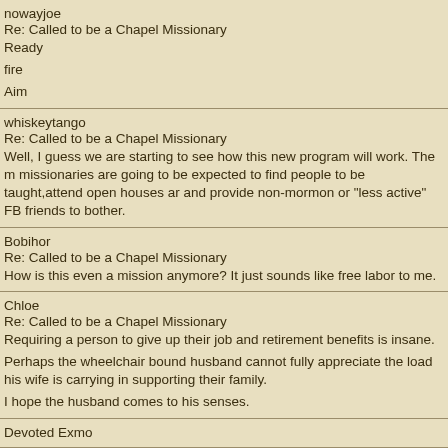nowayjoe
Re: Called to be a Chapel Missionary
Ready

fire

Aim
whiskeytango
Re: Called to be a Chapel Missionary
Well, I guess we are starting to see how this new program will work. The missionaries are going to be expected to find people to be taught,attend open houses and provide non-mormon or "less active" FB friends to bother.
Bobihor
Re: Called to be a Chapel Missionary
How is this even a mission anymore? It just sounds like free labor to me.
Chloe
Re: Called to be a Chapel Missionary
Requiring a person to give up their job and retirement benefits is insane.

Perhaps the wheelchair bound husband cannot fully appreciate the load his wife is carrying in supporting their family.

I hope the husband comes to his senses.
Devoted Exmo